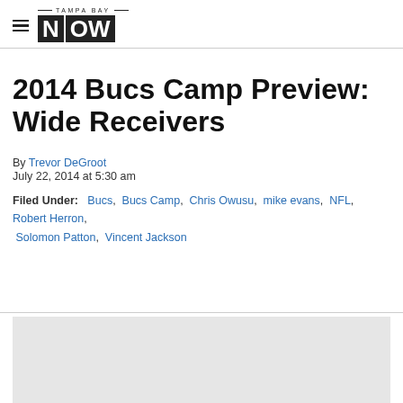TAMPA BAY NOW
2014 Bucs Camp Preview: Wide Receivers
By Trevor DeGroot
July 22, 2014 at 5:30 am
Filed Under: Bucs, Bucs Camp, Chris Owusu, mike evans, NFL, Robert Herron, Solomon Patton, Vincent Jackson
[Figure (other): Gray advertisement placeholder box]